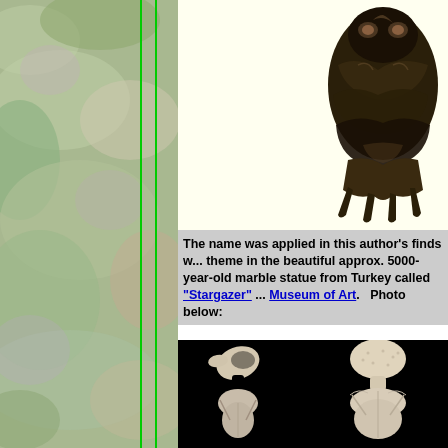[Figure (photo): Left panel with mossy/foliage texture background and two vertical green lines]
[Figure (photo): Dark bronze/metallic artifact sculpture of an owl or bird-like figure, photographed against cream background, positioned in top-right area]
The name was applied in this author's finds w... theme in the beautiful approx. 5000-year-old marble statue from Turkey called "Stargazer" ... Museum of Art.   Photo below:
[Figure (photo): Two views (side and front) of a pale marble or stone figurine/idol with a flat disk-shaped head, from Turkey, photographed against black background]